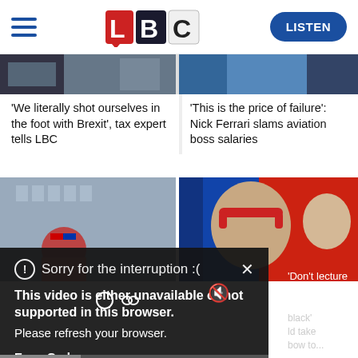[Figure (screenshot): LBC website header with hamburger menu, LBC logo, and LISTEN button]
[Figure (photo): Partial news article images top row - two cropped photos]
'We literally shot ourselves in the foot with Brexit', tax expert tells LBC
'This is the price of failure': Nick Ferrari slams aviation boss salaries
[Figure (photo): Middle row images - two cropped news photos including people with headsets]
Sorry for the interruption :(
This video is either unavailable or not supported in this browser.
Please refresh your browser.
Error Code:
MEDIA ERR SRC NOT SUPPORTED
'Don't lecture
black' ld take bow to...